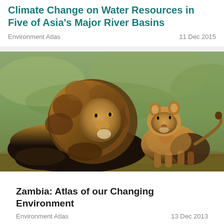Climate Change on Water Resources in Five of Asia's Major River Basins
Environment Atlas    11 Dec 2015
[Figure (photo): A male lion lying down facing a small lion cub on grassy terrain, with a blurred green background. The two lions are nose to nose.]
Zambia: Atlas of our Changing Environment
Environment Atlas    13 Dec 2013